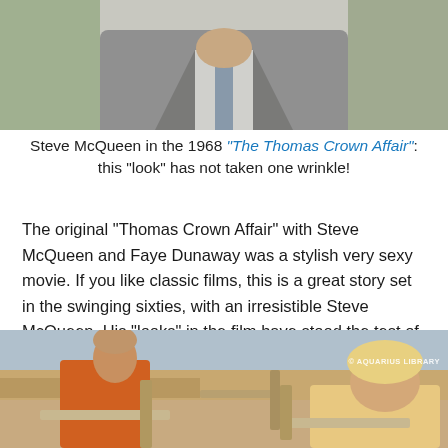[Figure (photo): Top portion of Steve McQueen in a grey suit, torso and lower face visible, outdoors background]
Steve McQueen in the 1968 "The Thomas Crown Affair": this “look” has not taken one wrinkle!
The original “Thomas Crown Affair” with Steve McQueen and Faye Dunaway was a stylish very sexy movie. If you like classic films, this is a great story set in the swinging sixties, with an irresistible Steve McQueen. His “looks” in the film have stood the test of time and some of Faye’s too:
[Figure (photo): Steve McQueen in an orange shirt and Faye Dunaway with blonde hair, both seated in lounge chairs outdoors with a scenic background. Watermark reads © AQUARIUS LIBRARY]